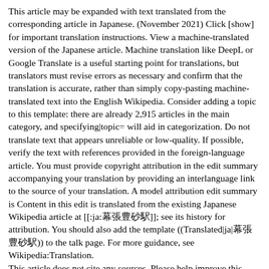This article may be expanded with text translated from the corresponding article in Japanese. (November 2021) Click [show] for important translation instructions. View a machine-translated version of the Japanese article. Machine translation like DeepL or Google Translate is a useful starting point for translations, but translators must revise errors as necessary and confirm that the translation is accurate, rather than simply copy-pasting machine-translated text into the English Wikipedia. Consider adding a topic to this template: there are already 2,915 articles in the main category, and specifying|topic= will aid in categorization. Do not translate text that appears unreliable or low-quality. If possible, verify the text with references provided in the foreign-language article. You must provide copyright attribution in the edit summary accompanying your translation by providing an interlanguage link to the source of your translation. A model attribution edit summary is Content in this edit is translated from the existing Japanese Wikipedia article at [[:ja:幕張豊砂駅]]; see its history for attribution. You should also add the template ((Translated|ja|幕張豊砂駅)) to the talk page. For more guidance, see Wikipedia:Translation.
This article does not cite any sources. Please help improve this article by adding citations to reliable sources. Unsourced material may be challenged and removed.Find sources: "Makuharitoyosuna Station" – news · newspapers · books · scholar · JSTOR (November 2021) (Learn how and when to remove this template message)